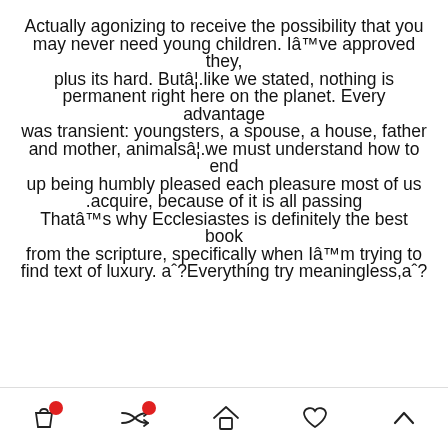Actually agonizing to receive the possibility that you may never need young children. Ia^™ve approved they, plus its hard. Buta^¦.like we stated, nothing is permanent right here on the planet. Every advantage was transient: youngsters, a spouse, a house, father and mother, animalsa^¦.we must understand how to end up being humbly pleased each pleasure most of us .acquire, because of it is all passing Thata^™s why Ecclesiastes is definitely the best book from the scripture, specifically when Ia^™m trying to find text of luxury. aˆ?Everything try meaningless,aˆ?
[navigation bar with shopping bag, shuffle, home, heart, and up-arrow icons]